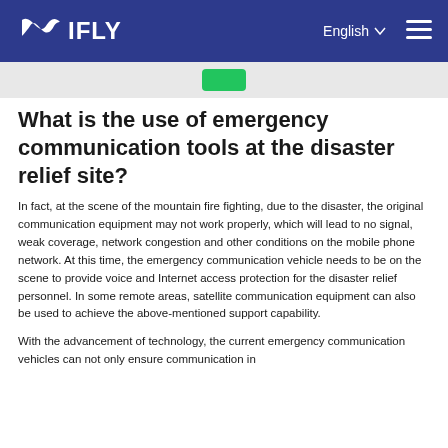NIFLY | English | Menu
What is the use of emergency communication tools at the disaster relief site?
In fact, at the scene of the mountain fire fighting, due to the disaster, the original communication equipment may not work properly, which will lead to no signal, weak coverage, network congestion and other conditions on the mobile phone network. At this time, the emergency communication vehicle needs to be on the scene to provide voice and Internet access protection for the disaster relief personnel. In some remote areas, satellite communication equipment can also be used to achieve the above-mentioned support capability.
With the advancement of technology, the current emergency communication vehicles can not only ensure communication in